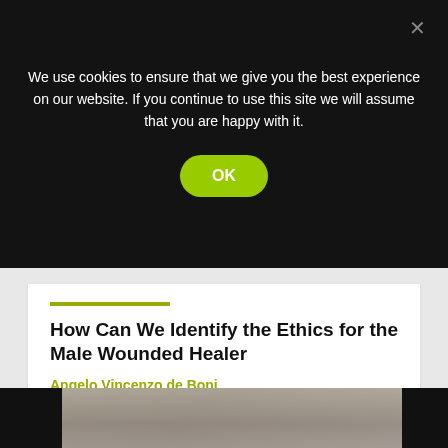We use cookies to ensure that we give you the best experience on our website. If you continue to use this site we will assume that you are happy with it.
OK
How Can We Identify the Ethics for the Male Wounded Healer
Angelo Vincenzo de Boni
[Figure (photo): A black and white photograph strip showing people, with black rectangular blocks on the left and right edges framing the image.]